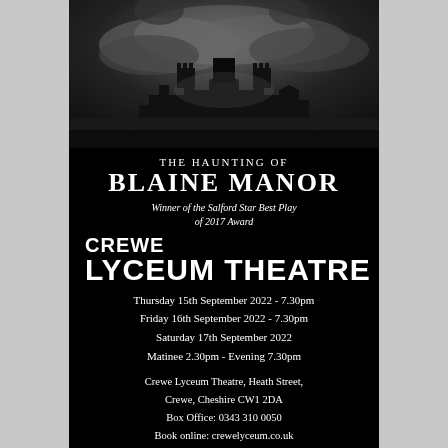[Figure (photo): Black and white dramatic photo of a dark manor/castle at night with stormy clouds and shadowy figures above]
THE HAUNTING OF BLAINE MANOR
Winner of the Salford Star Best Play of 2017 Award
CREWE LYCEUM THEATRE
Thursday 15th September 2022 - 7.30pm
Friday 16th September 2022 - 7.30pm
Saturday 17th September 2022
Matinee 2.30pm - Evening 7.30pm
Crewe Lyceum Theatre, Heath Street, Crewe, Cheshire CW1 2DA
Box Office: 0343 310 0050
Book online: crewelyceum.co.uk